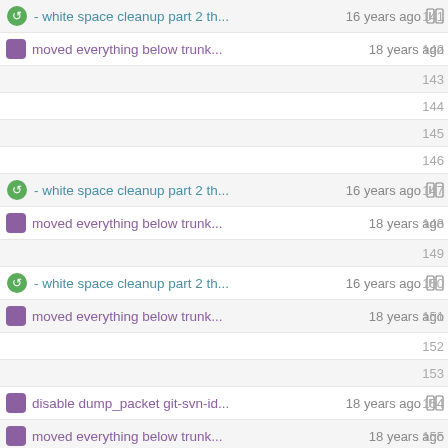- white space cleanup part 2 th... 16 years ago | 141
moved everything below trunk... 18 years ago | 142
143
144
145
146
- white space cleanup part 2 th... 16 years ago | 147
moved everything below trunk... 18 years ago | 148
149
- white space cleanup part 2 th... 16 years ago | 150
moved everything below trunk... 18 years ago | 151
152
153
disable dump_packet git-svn-id... 18 years ago | 154
moved everything below trunk... 18 years ago | 155
156
- white space cleanup part 2 th... 16 years ago | 157
moved everything below trunk... 18 years ago | 158
- white space cleanup part 2 th... 16 years ago | 159
moved everything below trunk... 18 years ago | 160
161